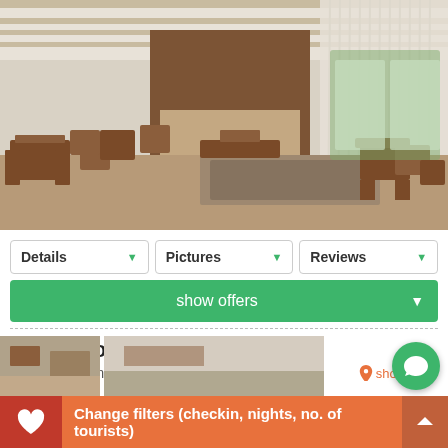[Figure (photo): Hotel interior lobby/restaurant area with wooden furniture, marble-patterned floor, white curtains, and wooden ceiling beams.]
Details
Pictures
Reviews
show offers
Hotel Rion ★★★★
Mangalia, Romanian Seaside, Romania
show map
Change filters (checkin, nights, no. of tourists)